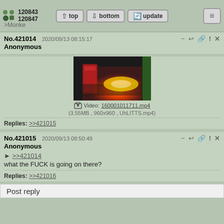120843 120847 | top | bottom | update | ≡
>Monke
No.421014  2020/09/13 08:15:17
Anonymous
[Figure (photo): Video thumbnail showing a red/orange glow, possibly fire, viewed through a dark frame with green edges]
Video: 160001011711.mp4
(3.55MB , 960x960 , UhLITTS.mp4)
Replies: >>421015
No.421015  2020/09/13 08:50:49
Anonymous
► >>421014
what the FUCK is going on there?
Replies: >>421016
Post reply